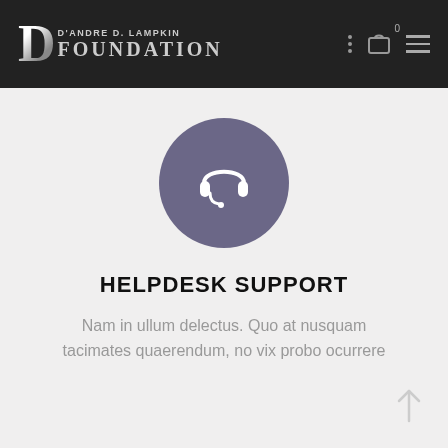D'ANDRE D. LAMPKIN FOUNDATION
[Figure (illustration): Purple circle with white headset/support icon in the center]
HELPDESK SUPPORT
Nam in ullum delectus. Quo at nusquam tacimates quaerendum, no vix probo ocurrere